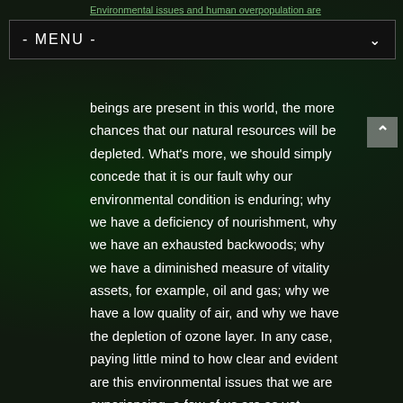Environmental issues and human overpopulation are
- MENU -
beings are present in this world, the more chances that our natural resources will be depleted. What's more, we should simply concede that it is our fault why our environmental condition is enduring; why we have a deficiency of nourishment, why we have an exhausted backwoods; why we have a diminished measure of vitality assets, for example, oil and gas; why we have a low quality of air, and why we have the depletion of ozone layer. In any case, paying little mind to how clear and evident are this environmental issues that we are experiencing, a few of us are as yet overlooking these realities for they trust that the most critical thing in this world is the cash. And they strongly believed that as long as you have the money, you don't have to worry about your survival in this world since you are fit for supporting your life's needs. Yet, these individuals ought to be reminded that our Mother Earth is the motivation behind why we have the occupation, home, sustenance, water, the method of transportation, and why we